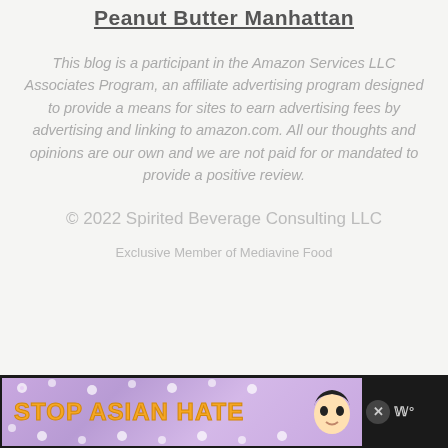Peanut Butter Manhattan
This blog is a participant in the Amazon Services LLC Associates Program, an affiliate advertising program designed to provide a means for sites to earn advertising fees by advertising and linking to amazon.com. All our thoughts and opinions are our own and we are not paid for or mandated to provide a positive review.
© 2022 Spirited Beverage Consulting LLC
Exclusive Member of Mediavine Food
[Figure (other): Advertisement banner: Stop Asian Hate campaign ad with purple floral background, orange bold text, anime character, and close button. Black bar background with Mediavine logo on right.]